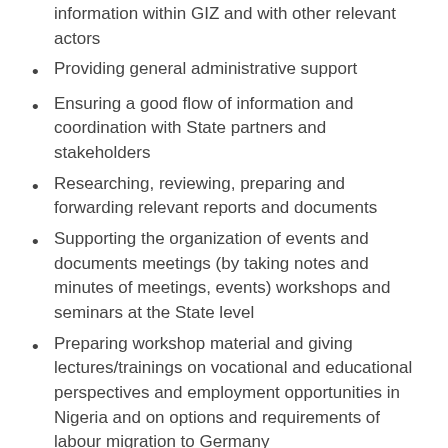information within GIZ and with other relevant actors
Providing general administrative support
Ensuring a good flow of information and coordination with State partners and stakeholders
Researching, reviewing, preparing and forwarding relevant reports and documents
Supporting the organization of events and documents meetings (by taking notes and minutes of meetings, events) workshops and seminars at the State level
Preparing workshop material and giving lectures/trainings on vocational and educational perspectives and employment opportunities in Nigeria and on options and requirements of labour migration to Germany
Updating the relevant folders of the GIZ Knowledge